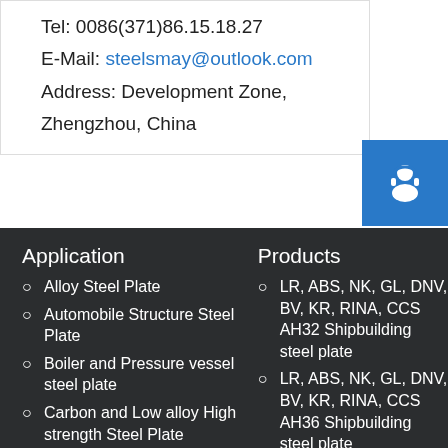Tel: 0086(371)86.15.18.27
E-Mail: steelsmay@outlook.com
Address: Development Zone, Zhengzhou, China
Application
Alloy Steel Plate
Automobile Structure Steel Plate
Boiler and Pressure vessel steel plate
Carbon and Low alloy High strength Steel Plate
Products
LR, ABS, NK, GL, DNV, BV, KR, RINA, CCS AH32 Shipbuilding steel plate
LR, ABS, NK, GL, DNV, BV, KR, RINA, CCS AH36 Shipbuilding steel plate
LR, ABS, NK, GL, DNV, BV, KR, RINA, CCS AH40